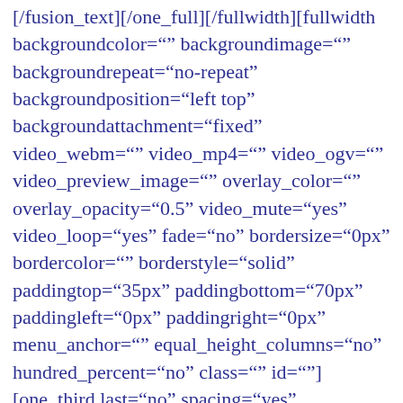[/fusion_text][/one_full][/fullwidth][fullwidth backgroundcolor="" backgroundimage="" backgroundrepeat="no-repeat" backgroundposition="left top" backgroundattachment="fixed" video_webm="" video_mp4="" video_ogv="" video_preview_image="" overlay_color="" overlay_opacity="0.5" video_mute="yes" video_loop="yes" fade="no" bordersize="0px" bordercolor="" borderstyle="solid" paddingtop="35px" paddingbottom="70px" paddingleft="0px" paddingright="0px" menu_anchor="" equal_height_columns="no" hundred_percent="no" class="" id=""][one_third last="no" spacing="yes" background_color="" background_image="" background_repeat="no-repeat" background_position="left top"